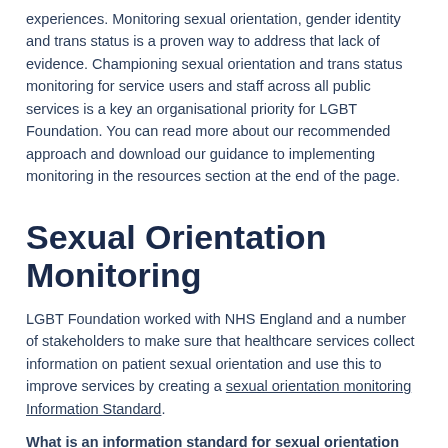experiences. Monitoring sexual orientation, gender identity and trans status is a proven way to address that lack of evidence. Championing sexual orientation and trans status monitoring for service users and staff across all public services is a key an organisational priority for LGBT Foundation. You can read more about our recommended approach and download our guidance to implementing monitoring in the resources section at the end of the page.
Sexual Orientation Monitoring
LGBT Foundation worked with NHS England and a number of stakeholders to make sure that healthcare services collect information on patient sexual orientation and use this to improve services by creating a sexual orientation monitoring Information Standard.
What is an information standard for sexual orientation monitoring?
Information standards are used across the health and social